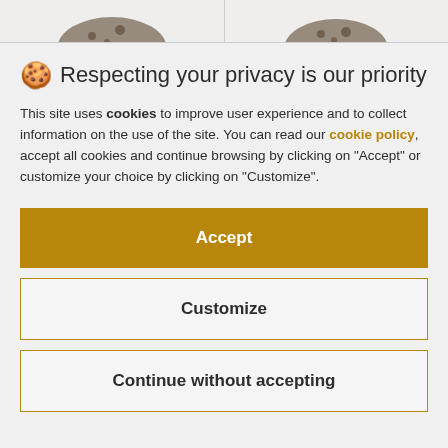[Figure (photo): Top portion of page showing two product images (cookies/food items) partially visible at the top, with a white background and border]
🍪 Respecting your privacy is our priority
This site uses cookies to improve user experience and to collect information on the use of the site. You can read our cookie policy, accept all cookies and continue browsing by clicking on "Accept" or customize your choice by clicking on "Customize".
Accept
Customize
Continue without accepting